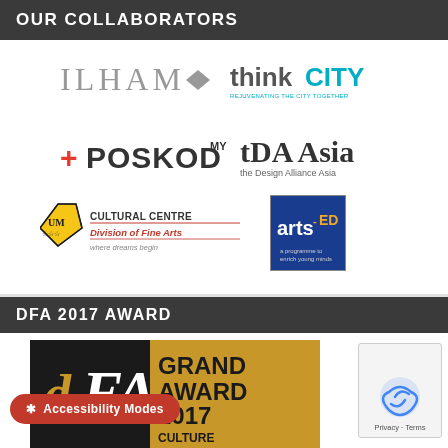OUR COLLABORATORS
[Figure (logo): ILHAM logo with diamond shape]
[Figure (logo): thinkCITY logo — REJUVENATING THE CITY TOGETHER]
[Figure (logo): +POSKOD MY logo]
[Figure (logo): tDA Asia — the Design Alliance Asia logo]
[Figure (logo): Cultural Centre Division of Fine Arts — where dreams begin logo with shield]
[Figure (logo): arts-ED logo in blue and yellow box]
DFA 2017 AWARD
[Figure (other): DFA Grand Award 2017 Culture award image — black and gold]
Accessibility Modes
Privacy · Terms